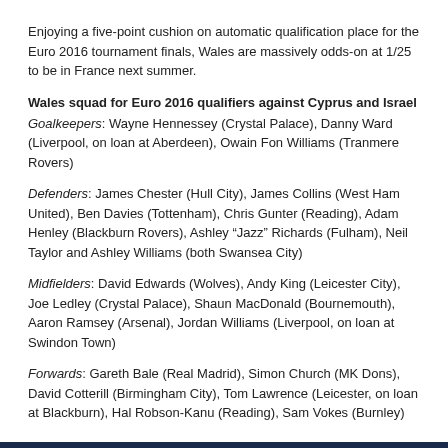Enjoying a five-point cushion on automatic qualification place for the Euro 2016 tournament finals, Wales are massively odds-on at 1/25 to be in France next summer.
Wales squad for Euro 2016 qualifiers against Cyprus and Israel
Goalkeepers: Wayne Hennessey (Crystal Palace), Danny Ward (Liverpool, on loan at Aberdeen), Owain Fon Williams (Tranmere Rovers)
Defenders: James Chester (Hull City), James Collins (West Ham United), Ben Davies (Tottenham), Chris Gunter (Reading), Adam Henley (Blackburn Rovers), Ashley “Jazz” Richards (Fulham), Neil Taylor and Ashley Williams (both Swansea City)
Midfielders: David Edwards (Wolves), Andy King (Leicester City), Joe Ledley (Crystal Palace), Shaun MacDonald (Bournemouth), Aaron Ramsey (Arsenal), Jordan Williams (Liverpool, on loan at Swindon Town)
Forwards: Gareth Bale (Real Madrid), Simon Church (MK Dons), David Cotterill (Birmingham City), Tom Lawrence (Leicester, on loan at Blackburn), Hal Robson-Kanu (Reading), Sam Vokes (Burnley)